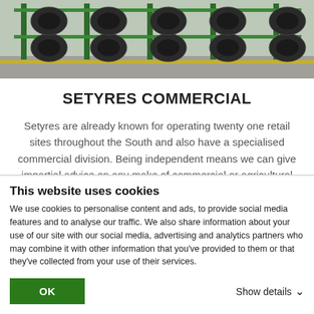[Figure (photo): Photo of large commercial/agricultural tyres stacked on green metal racking in a warehouse or yard]
SETYRES COMMERCIAL
Setyres are already known for operating twenty one retail sites throughout the South and also have a specialised commercial division. Being independent means we can give impartial advice on any make of commercial or agricultural tyre.
If you're an operator of one vehicle or a whole fleet and
This website uses cookies
We use cookies to personalise content and ads, to provide social media features and to analyse our traffic. We also share information about your use of our site with our social media, advertising and analytics partners who may combine it with other information that you've provided to them or that they've collected from your use of their services.
OK
Show details